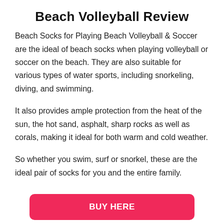Beach Volleyball Review
Beach Socks for Playing Beach Volleyball & Soccer are the ideal of beach socks when playing volleyball or soccer on the beach. They are also suitable for various types of water sports, including snorkeling, diving, and swimming.
It also provides ample protection from the heat of the sun, the hot sand, asphalt, sharp rocks as well as corals, making it ideal for both warm and cold weather.
So whether you swim, surf or snorkel, these are the ideal pair of socks for you and the entire family.